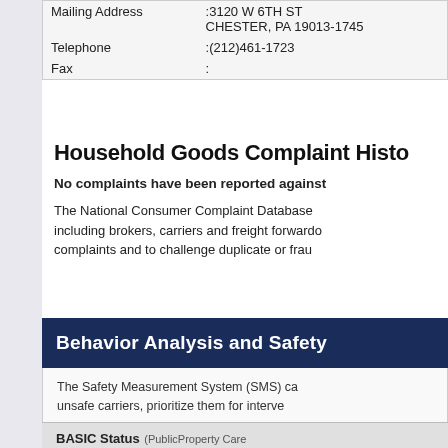| Mailing Address | :3120 W 6TH ST
CHESTER, PA 19013-1745 |
| Telephone | :(212)461-1723 |
| Fax | : |
Household Goods Complaint Histo
No complaints have been reported against
The National Consumer Complaint Database including brokers, carriers and freight forwarders. complaints and to challenge duplicate or frau
Behavior Analysis and Safety
The Safety Measurement System (SMS) ca unsafe carriers, prioritize them for interve
To get details, or view the SMS website
BASIC Status (PublicProperty Care